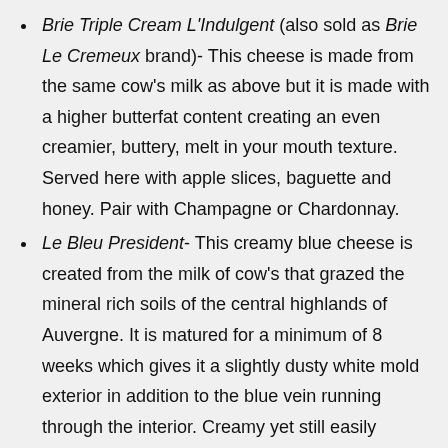Brie Triple Cream L'Indulgent (also sold as Brie Le Cremeux brand)- This cheese is made from the same cow's milk as above but it is made with a higher butterfat content creating an even creamier, buttery, melt in your mouth texture. Served here with apple slices, baguette and honey. Pair with Champagne or Chardonnay.
Le Bleu President- This creamy blue cheese is created from the milk of cow's that grazed the mineral rich soils of the central highlands of Auvergne. It is matured for a minimum of 8 weeks which gives it a slightly dusty white mold exterior in addition to the blue vein running through the interior. Creamy yet still easily crumbled for salads with a pronounced spicy flavor. Pair with Pinot Blanc, Riesling and Gewürztraminer.
Les 3 Comtois- This cow's milk Comte cheese is produced in the east near the Jura